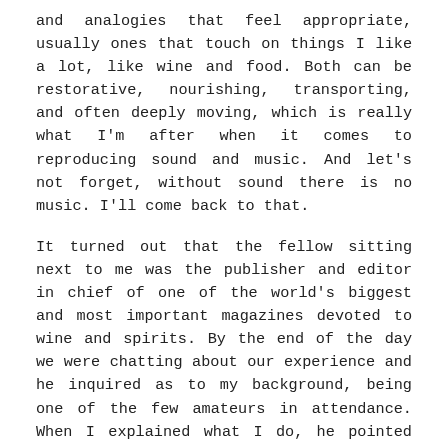and analogies that feel appropriate, usually ones that touch on things I like a lot, like wine and food. Both can be restorative, nourishing, transporting, and often deeply moving, which is really what I'm after when it comes to reproducing sound and music. And let's not forget, without sound there is no music. I'll come back to that.
It turned out that the fellow sitting next to me was the publisher and editor in chief of one of the world's biggest and most important magazines devoted to wine and spirits. By the end of the day we were chatting about our experience and he inquired as to my background, being one of the few amateurs in attendance. When I explained what I do, he pointed out the similarities between our respective worlds, and of course the subject of turntables and vinyl came out of the closet, literally, because his turntable and